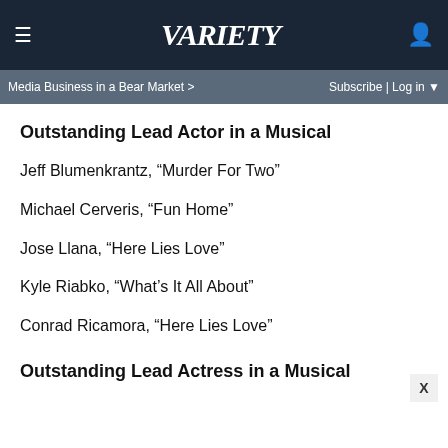VARIETY
Media Business in a Bear Market >   Subscribe | Log in ▼
Outstanding Lead Actor in a Musical
Jeff Blumenkrantz, “Murder For Two”
Michael Cerveris, “Fun Home”
Jose Llana, “Here Lies Love”
Kyle Riabko, “What’s It All About”
Conrad Ricamora, “Here Lies Love”
Outstanding Lead Actress in a Musical